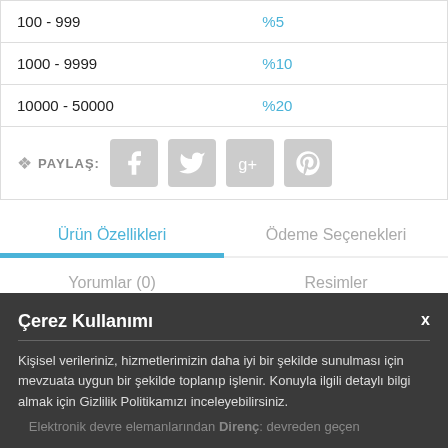|  | İndirim |
| --- | --- |
| 100 - 999 | %5 |
| 1000 - 9999 | %10 |
| 10000 - 50000 | %20 |
PAYLAŞ: [Facebook] [Twitter] [Google+] [Pinterest]
Ürün Özellikleri
Ödeme Seçenekleri
Yorumlar (0)
Resimler
Çerez Kullanımı
Kişisel verileriniz, hizmetlerimizin daha iyi bir şekilde sunulması için mevzuata uygun bir şekilde toplanıp işlenir. Konuyla ilgili detaylı bilgi almak için Gizlilik Politikamızı inceleyebilirsiniz.
Elektronik devre elemanlarından Direnç: devreden geçen